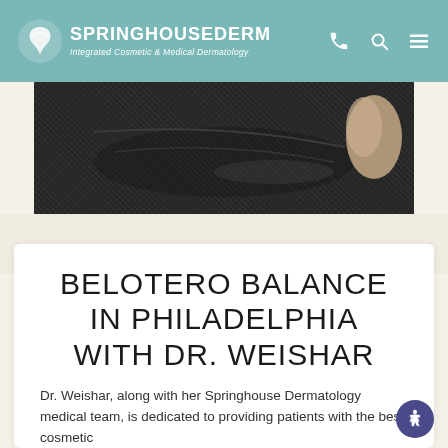SPRINGHOUSE DERM — Integrated Cosmetic & Medical Dermatology
[Figure (photo): Close-up photo of dark fabric/textile being pinched or examined by fingers]
BELOTERO BALANCE IN PHILADELPHIA WITH DR. WEISHAR
Dr. Weishar, along with her Springhouse Dermatology medical team, is dedicated to providing patients with the best cosmetic